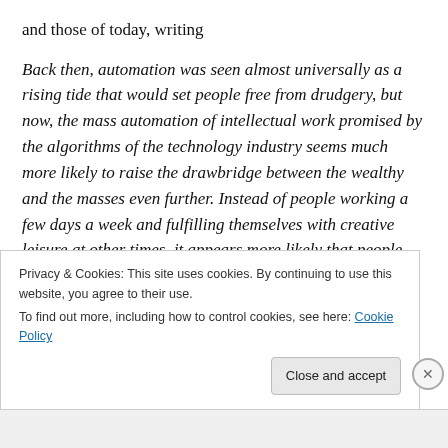and those of today, writing
Back then, automation was seen almost universally as a rising tide that would set people free from drudgery, but now, the mass automation of intellectual work promised by the algorithms of the technology industry seems much more likely to raise the drawbridge between the wealthy and the masses even further. Instead of people working a few days a week and fulfilling themselves with creative leisure at other times, it appears more likely that people will become more tightly squeezed into the last remaining
Privacy & Cookies: This site uses cookies. By continuing to use this website, you agree to their use.
To find out more, including how to control cookies, see here: Cookie Policy
Close and accept